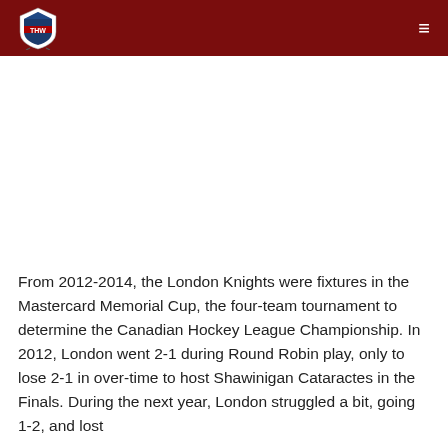THW
From 2012-2014, the London Knights were fixtures in the Mastercard Memorial Cup, the four-team tournament to determine the Canadian Hockey League Championship. In 2012, London went 2-1 during Round Robin play, only to lose 2-1 in over-time to host Shawinigan Cataractes in the Finals. During the next year, London struggled a bit, going 1-2, and lost